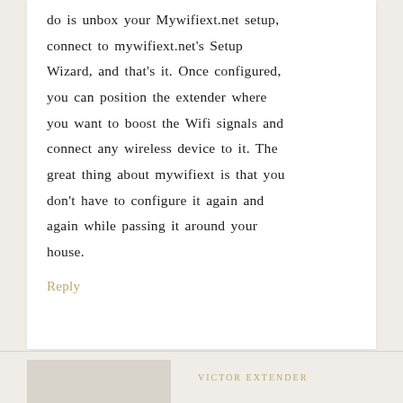do is unbox your Mywifiext.net setup, connect to mywifiext.net's Setup Wizard, and that's it. Once configured, you can position the extender where you want to boost the Wifi signals and connect any wireless device to it. The great thing about mywifiext is that you don't have to configure it again and again while passing it around your house.
Reply
VICTOR EXTENDER